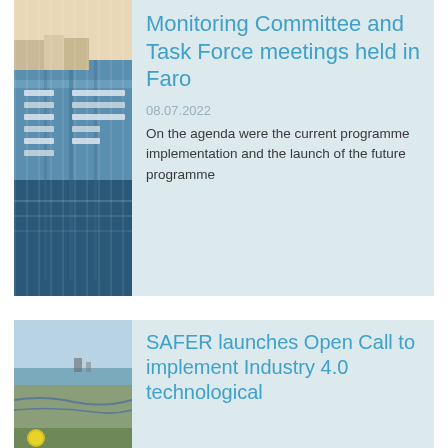[Figure (photo): Aerial view of a marina with many boats docked, seen from above.]
Monitoring Committee and Task Force meetings held in Faro
08.07.2022
On the agenda were the current programme implementation and the launch of the future programme
[Figure (photo): Coastal landscape photo with water, mudflats, and a yellow buoy in the foreground.]
SAFER launches Open Call to implement Industry 4.0 technological